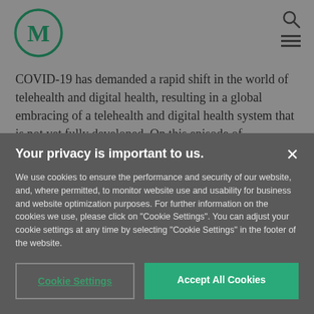[Figure (logo): Circular logo with letter M in dark teal/green color]
COVID-19 has demanded a rapid shift in the world of telehealth and digital health, resulting in a global embracing of a telehealth and digital health system that is not yet fully developed. On this episode of
Your privacy is important to us.
We use cookies to ensure the performance and security of our website, and, where permitted, to monitor website use and usability for business and website optimization purposes. For further information on the cookies we use, please click on "Cookie Settings". You can adjust your cookie settings at any time by selecting "Cookie Settings" in the footer of the website.
Cookie Settings
Accept All Cookies